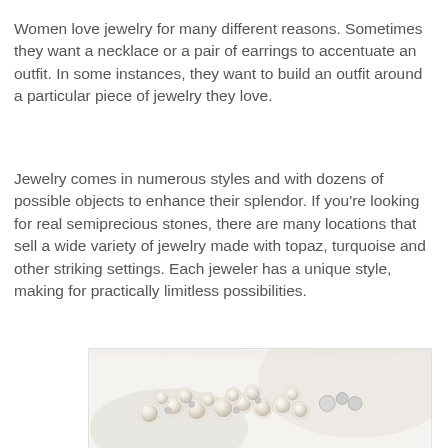Women love jewelry for many different reasons. Sometimes they want a necklace or a pair of earrings to accentuate an outfit. In some instances, they want to build an outfit around a particular piece of jewelry they love.
Jewelry comes in numerous styles and with dozens of possible objects to enhance their splendor. If you're looking for real semiprecious stones, there are many locations that sell a wide variety of jewelry made with topaz, turquoise and other striking settings. Each jeweler has a unique style, making for practically limitless possibilities.
[Figure (photo): Close-up photograph of a pearl bracelet with clustered white/cream pearls and silver beads, against a light background with soft fabric.]